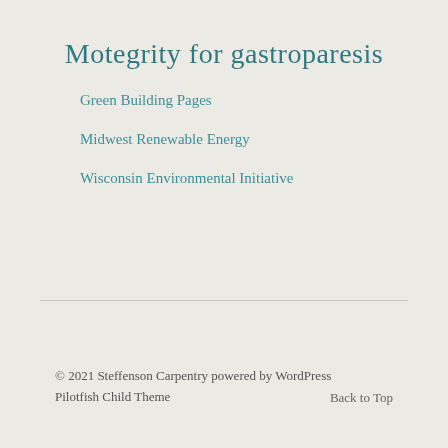Motegrity for gastroparesis
Green Building Pages
Midwest Renewable Energy
Wisconsin Environmental Initiative
© 2021 Steffenson Carpentry powered by WordPress Pilotfish Child Theme
Back to Top